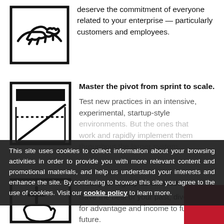[Figure (illustration): Icon of a handshake/partnership symbol in a square border]
deserve the commitment of everyone related to your enterprise — particularly customers and employees.
[Figure (illustration): Icon of a graph/chart with dotted line and rising diagonal line in a square border]
Master the pivot from sprint to scale.

Test new practices in an intensive, experimental, startup-style environments. But the ones that work and rapidly implement them throughout the larger system.
This site uses cookies to collect information about your browsing activities in order to provide you with more relevant content and promotional materials, and help us understand your interests and enhance the site. By continuing to browse this site you agree to the use of cookies. Visit our cookie policy to learn more.
[Figure (illustration): Icon of a hand holding a plus/medical cross symbol]
Treat your legacy as an asset.

Save the best of your past, divest the rest for advantage and income to fund the future.